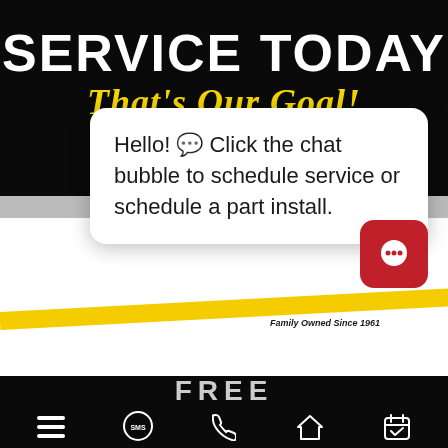SERVICE TODAY
That's Our Goal!
Hurry! Call now and reserve your appointment before your preferred time slot is taken!
[Figure (screenshot): Partial view of a website showing a yellow diagonal bar and 'Family Owned Since 1961' text]
Hello! 💬 Click the chat bubble to schedule service or schedule a part install.
[Figure (illustration): Red rounded-square chat button icon with white speech bubble]
FREE
[Figure (infographic): Bottom navigation bar with hamburger menu, SMS bubble, phone, home, and calendar-check icons]